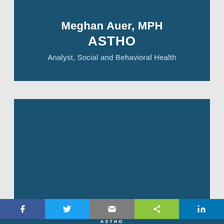Meghan Auer, MPH
ASTHO
Analyst, Social and Behavioral Health
[Figure (other): Dark teal content panel placeholder]
[Figure (infographic): Social sharing bar with Facebook, Twitter, Email, Share, and LinkedIn buttons]
ASTHO